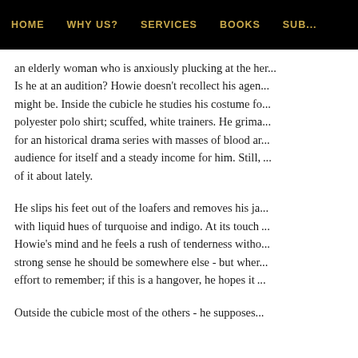HOME   WHY US?   SERVICES   BOOKS   SUB...
an elderly woman who is anxiously plucking at the he... Is he at an audition? Howie doesn't recollect his agen... might be. Inside the cubicle he studies his costume fo... polyester polo shirt; scuffed, white trainers. He grima... for an historical drama series with masses of blood ar... audience for itself and a steady income for him. Still, ... of it about lately.
He slips his feet out of the loafers and removes his ja... with liquid hues of turquoise and indigo. At its touch ... Howie's mind and he feels a rush of tenderness witho... strong sense he should be somewhere else - but wher... effort to remember; if this is a hangover, he hopes it ...
Outside the cubicle most of the others - he suppose...